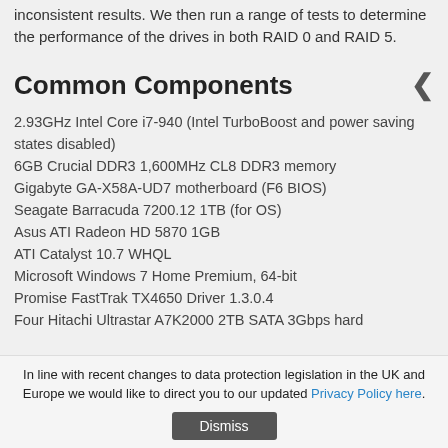inconsistent results. We then run a range of tests to determine the performance of the drives in both RAID 0 and RAID 5.
Common Components
2.93GHz Intel Core i7-940 (Intel TurboBoost and power saving states disabled)
6GB Crucial DDR3 1,600MHz CL8 DDR3 memory
Gigabyte GA-X58A-UD7 motherboard (F6 BIOS)
Seagate Barracuda 7200.12 1TB (for OS)
Asus ATI Radeon HD 5870 1GB
ATI Catalyst 10.7 WHQL
Microsoft Windows 7 Home Premium, 64-bit
Promise FastTrak TX4650 Driver 1.3.0.4
Four Hitachi Ultrastar A7K2000 2TB SATA 3Gbps hard
In line with recent changes to data protection legislation in the UK and Europe we would like to direct you to our updated Privacy Policy here.